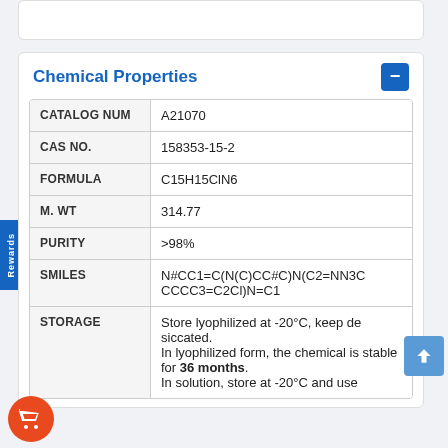Chemical Properties
| Property | Value |
| --- | --- |
| CATALOG NUM | A21070 |
| CAS NO. | 158353-15-2 |
| FORMULA | C15H15ClN6 |
| M. WT | 314.77 |
| PURITY | >98% |
| SMILES | N#CC1=C(N(C)CC#C)N(C2=NN3CCCCC3=C2Cl)N=C1 |
| STORAGE | Store lyophilized at -20°C, keep desiccated.
In lyophilized form, the chemical is stable for 36 months.
In solution, store at -20°C and use |